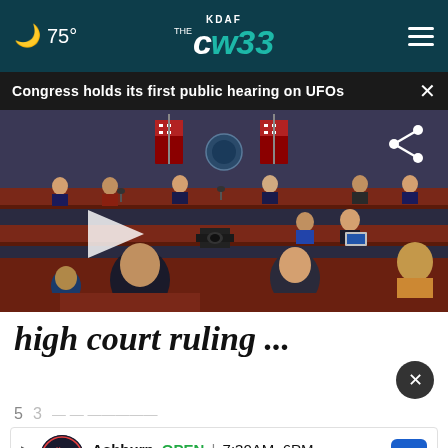KDAF THE CW 33 | ☾ 75°
Congress holds its first public hearing on UFOs
[Figure (screenshot): Video still of a Congressional hearing room with lawmakers seated at tiered wooden dais, American flags in background. Play button overlay visible on left side, share icon on upper right.]
high court ruling ...
5   3
[Figure (other): Advertisement for Tire Auto, Ashburn location. OPEN 7:30AM-6PM, 43781 Parkhurst Plaza, Ashburn]
6   Whitmore retires ex-MLBer as 1st